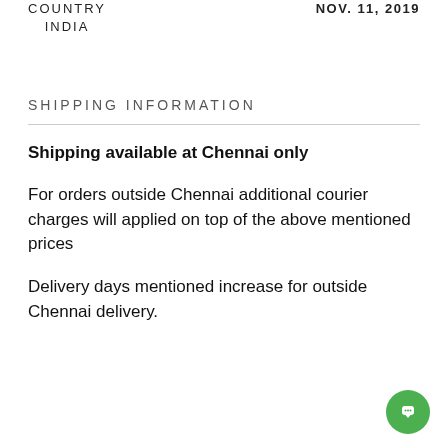COUNTRY
INDIA
NOV. 11, 2019
SHIPPING INFORMATION
Shipping available at Chennai only
For orders outside Chennai additional courier charges will applied on top of the above mentioned prices
Delivery days mentioned increase for outside Chennai delivery.